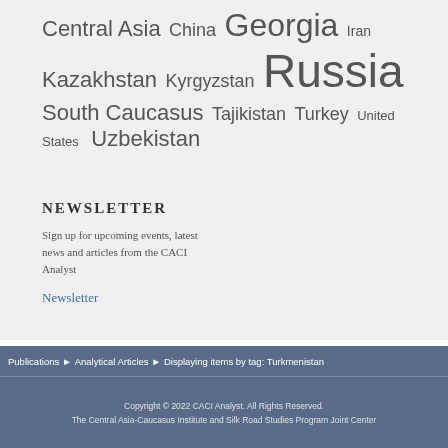Central Asia  China  Georgia  Iran  Kazakhstan  Kyrgyzstan  Russia  South Caucasus  Tajikistan  Turkey  United States  Uzbekistan
NEWSLETTER
Sign up for upcoming events, latest news and articles from the CACI Analyst
Newsletter
Publications ▶ Analytical Articles ▶ Displaying items by tag: Turkmenistan
Copyright © 2022 CACI Analyst. All Rights Reserved. The Central Asia-Caucasus Institute and Silk Road Studies Program Joint Center